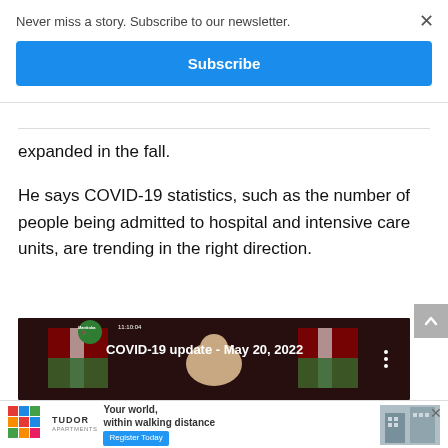Never miss a story. Subscribe to our newsletter.
Subscribe
expanded in the fall.
He says COVID-19 statistics, such as the number of people being admitted to hospital and intensive care units, are trending in the right direction.
[Figure (screenshot): YouTube video thumbnail for Manitoba government COVID-19 update - May 20, 2022, showing a man at a podium with Manitoba flags in the background. Duration shown as 11:10:04.]
[Figure (infographic): Tudor Apartments advertisement banner: 'Your world, within walking distance' with Register Today button and building photos.]